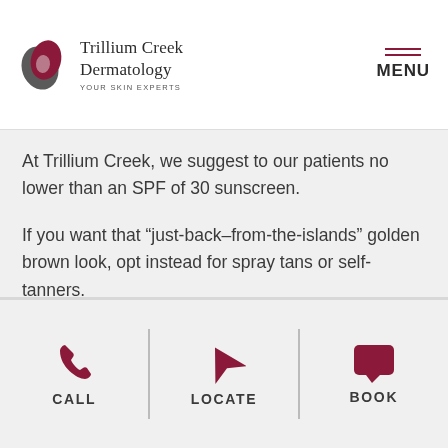Trillium Creek Dermatology — YOUR SKIN EXPERTS | MENU
At Trillium Creek, we suggest to our patients no lower than an SPF of 30 sunscreen.
If you want that “just-back–from-the-islands” golden brown look, opt instead for spray tans or self-tanners.
BACK TO BLOG OVERVIEW ▶
CALL | LOCATE | BOOK